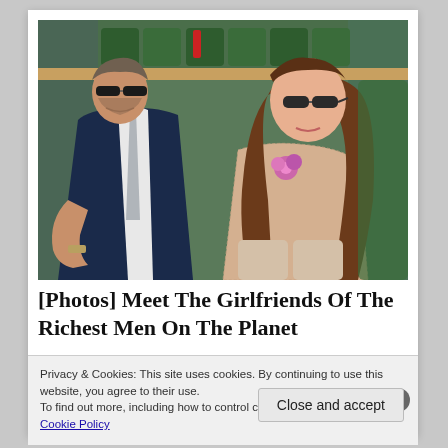[Figure (photo): Two people sitting in stadium seats at what appears to be Wimbledon. On the left is an older man in a dark navy suit with a light grey tie and sunglasses. On the right is a younger woman with long brown hair wearing sunglasses and a beige lace top with a pink flower corsage.]
[Photos] Meet The Girlfriends Of The Richest Men On The Planet
Privacy & Cookies: This site uses cookies. By continuing to use this website, you agree to their use.
To find out more, including how to control cookies, see here: Cookie Policy
Close and accept